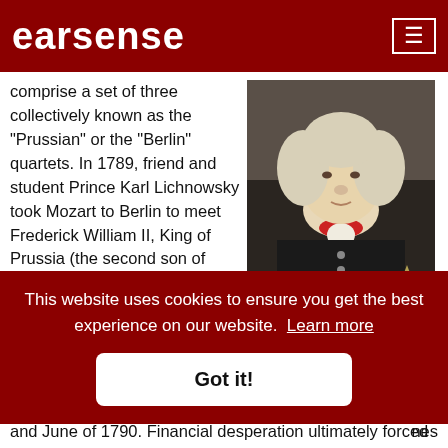earsense
comprise a set of three collectively known as the "Prussian" or the "Berlin" quartets. In 1789, friend and student Prince Karl Lichnowsky took Mozart to Berlin to meet Frederick William II, King of Prussia (the second son of Frederick the Great). Frederick was a skillful cellist, and a generous patron of the arts. The meeting proved fruitful for Mozart resulting in a commission for six string quartets as well as some piano sonatas for
[Figure (photo): Portrait painting of Frederick William II, King of Prussia, showing a heavyset man with white powdered wig, red collar/cravat, and dark decorated coat with a star medal.]
nes
fan
and June of 1790. Financial desperation ultimately forced
This website uses cookies to ensure you get the best experience on our website. Learn more
Got it!